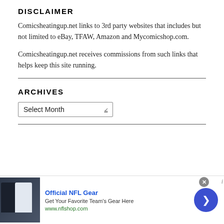DISCLAIMER
Comicsheatingup.net links to 3rd party websites that includes but not limited to eBay, TFAW, Amazon and Mycomicshop.com.
Comicsheatingup.net receives commissions from such links that helps keep this site running.
ARCHIVES
Select Month dropdown
[Figure (screenshot): Advertisement banner for Official NFL Gear showing football jerseys, text 'Official NFL Gear', 'Get Your Favorite Team's Gear Here', 'www.nflshop.com', with a blue arrow button and close X button]